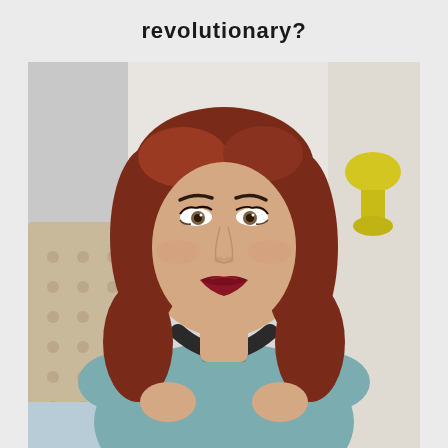revolutionary?
[Figure (photo): A young woman with auburn/red wavy shoulder-length hair, bold dark red lipstick, wearing a teal/blue-grey v-neck t-shirt and a black strap across her chest. She is looking directly at the camera with a neutral expression. Background shows a tufted beige headboard on the left, white walls, and a yellow decorative object on the right. The setting appears to be a bedroom.]